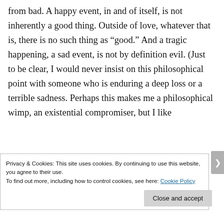from bad. A happy event, in and of itself, is not inherently a good thing. Outside of love, whatever that is, there is no such thing as “good.” And a tragic happening, a sad event, is not by definition evil. (Just to be clear, I would never insist on this philosophical point with someone who is enduring a deep loss or a terrible sadness. Perhaps this makes me a philosophical wimp, an existential compromiser, but I like
Privacy & Cookies: This site uses cookies. By continuing to use this website, you agree to their use.
To find out more, including how to control cookies, see here: Cookie Policy
Close and accept